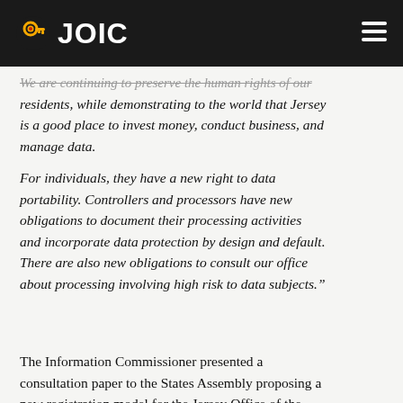JOIC
We are continuing to preserve the human rights of our residents, while demonstrating to the world that Jersey is a good place to invest money, conduct business, and manage data.
For individuals, they have a new right to data portability. Controllers and processors have new obligations to document their processing activities and incorporate data protection by design and default. There are also new obligations to consult our office about processing involving high risk to data subjects.”
The Information Commissioner presented a consultation paper to the States Assembly proposing a new registration model for the Jersey Office of the